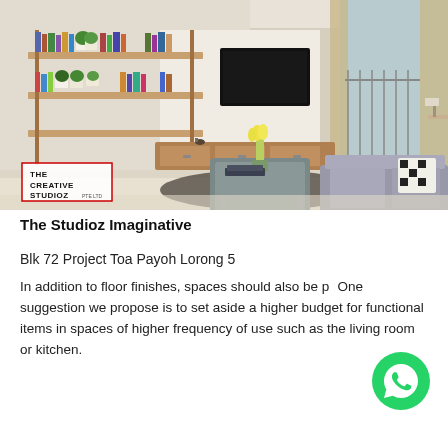[Figure (photo): Interior design photo of a modern living room with open shelving filled with books, a wall-mounted TV, wooden TV console, grey coffee table with yellow tulips, white sofa, and balcony with curtains. The Creative Studioz Pte Ltd logo is overlaid in the bottom-left corner.]
The Studioz Imaginative
Blk 72 Project Toa Payoh Lorong 5
In addition to floor finishes, spaces should also be pr One suggestion we propose is to set aside a higher budget for functional items in spaces of higher frequency of use such as the living room or kitchen.